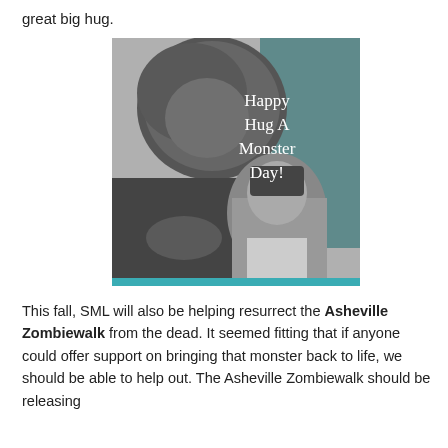great big hug.
[Figure (photo): Black and white photo of a werewolf monster holding a young girl, with teal-gray background on the right side displaying text 'Happy Hug A Monster Day!' in white serif font. A teal border runs along the bottom of the image.]
This fall, SML will also be helping resurrect the Asheville Zombiewalk from the dead. It seemed fitting that if anyone could offer support on bringing that monster back to life, we should be able to help out. The Asheville Zombiewalk should be releasing